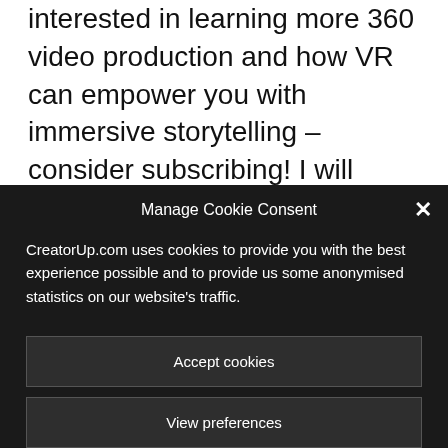interested in learning more 360 video production and how VR can empower you with immersive storytelling – consider subscribing! I will have more POST tutorials on the ONE X, the Fusion and the upcoming GoPro Fusion 2. So stay tuned, and I will see you next time.
Manage Cookie Consent
CreatorUp.com uses cookies to provide you with the best experience possible and to provide us some anonymised statistics on our website's traffic.
Accept cookies
View preferences